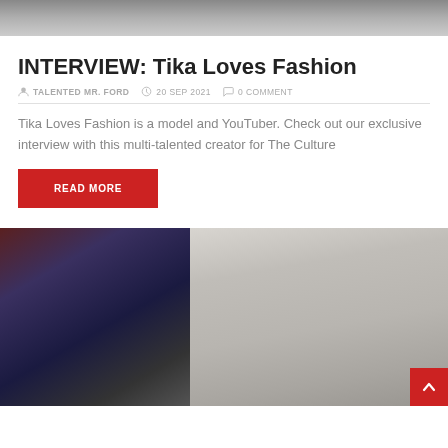[Figure (photo): Top portion of a photo showing a person, cropped at the top of the page]
INTERVIEW: Tika Loves Fashion
TALENTED MR. FORD  20 SEP 2021  0 COMMENT
Tika Loves Fashion is a model and YouTuber. Check out our exclusive interview with this multi-talented creator for The Culture
READ MORE
[Figure (photo): Bottom photo showing two images side by side: left side with sneakers/shoes and a cylindrical object, right side showing a person in a gray hoodie holding something]